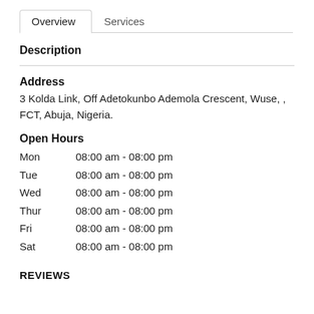Overview | Services (tabs)
Description
Address
3 Kolda Link, Off Adetokunbo Ademola Crescent, Wuse, , FCT, Abuja, Nigeria.
Open Hours
Mon   08:00 am - 08:00 pm
Tue   08:00 am - 08:00 pm
Wed   08:00 am - 08:00 pm
Thur  08:00 am - 08:00 pm
Fri   08:00 am - 08:00 pm
Sat   08:00 am - 08:00 pm
REVIEWS